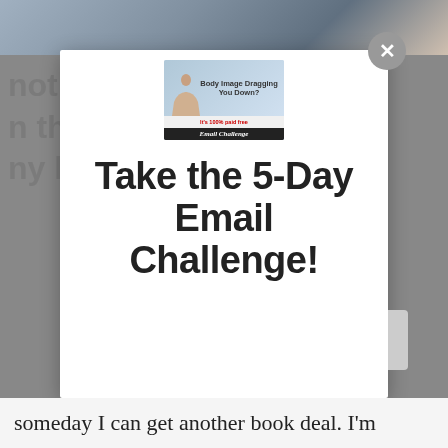[Figure (screenshot): Website screenshot showing a modal popup dialog with a close button (×) in the top right. The modal contains a small promo image for a 'Body Image Dragging You Down?' email challenge and large bold text reading 'Take the 5-Day Email Challenge!'. Behind the modal, blurred background page text is partially visible on the sides. At the bottom is a text strip reading 'someday I can get another book deal. I'm']
someday I can get another book deal. I'm